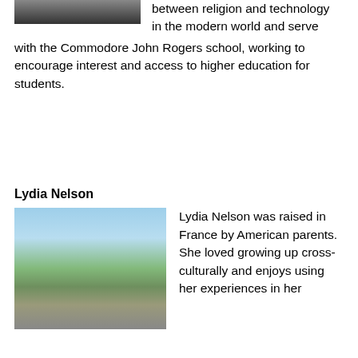[Figure (photo): Partial photo of a person at the top of the page (cropped, showing bottom portion)]
between religion and technology in the modern world and serve with the Commodore John Rogers school, working to encourage interest and access to higher education for students.
Lydia Nelson
[Figure (photo): Photo of Lydia Nelson standing outdoors in France near a waterway with a blue sky background]
Lydia Nelson was raised in France by American parents. She loved growing up cross-culturally and enjoys using her experiences in her